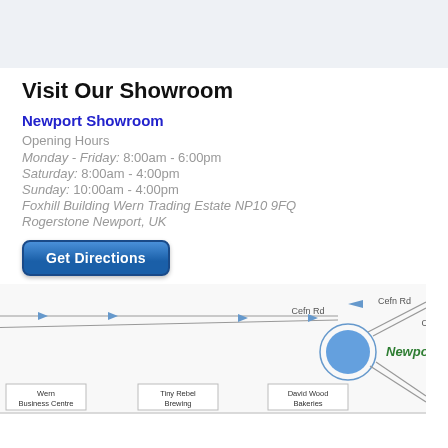Visit Our Showroom
Newport Showroom
Opening Hours
Monday - Friday: 8:00am - 6:00pm
Saturday: 8:00am - 4:00pm
Sunday: 10:00am - 4:00pm
Foxhill Building Wern Trading Estate NP10 9FQ Rogerstone Newport, UK
Get Directions
[Figure (map): Street map showing Cefn Rd roundabout near Newport, with Wern Business Centre, Tiny Rebel Brewing, and David Wood Bakeries labeled nearby. A blue circle marks the roundabout location with 'Newport' labeled to the right.]